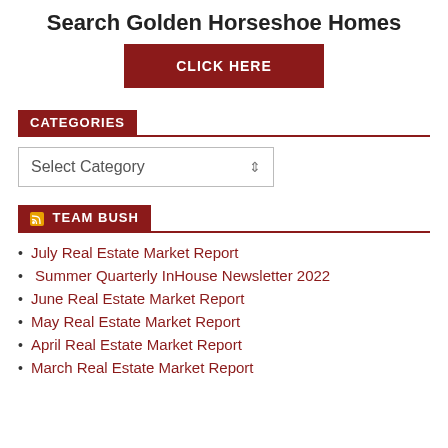Search Golden Horseshoe Homes
[Figure (other): Dark red button with text CLICK HERE]
CATEGORIES
[Figure (other): Select Category dropdown box]
TEAM BUSH
July Real Estate Market Report
Summer Quarterly InHouse Newsletter 2022
June Real Estate Market Report
May Real Estate Market Report
April Real Estate Market Report
March Real Estate Market Report